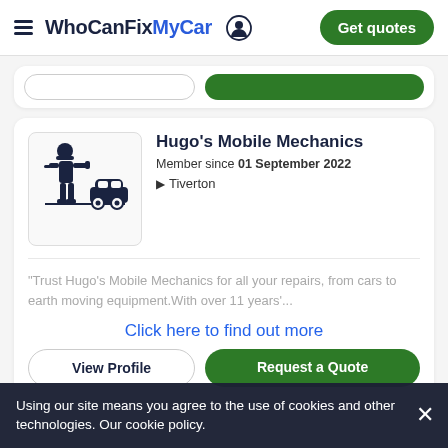WhoCanFixMyCar — Get quotes
[Figure (illustration): Mechanic with wrench standing next to a car icon — WhoCanFixMyCar business logo placeholder]
Hugo's Mobile Mechanics
Member since 01 September 2022
Tiverton
"Trust Hugo's Mobile Mechanics for all your repairs, from cars to earth moving equipment.With over 11 years'...
Click here to find out more
View Profile
Request a Quote
Using our site means you agree to the use of cookies and other technologies. Our cookie policy.